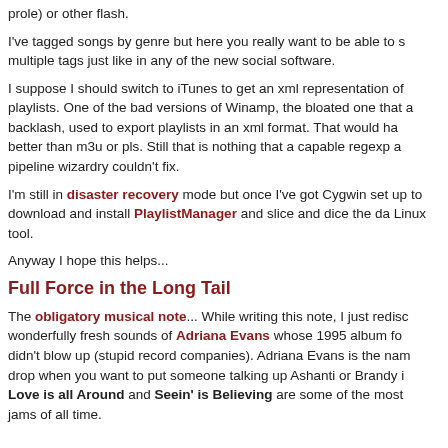prole) or other flash.
I've tagged songs by genre but here you really want to be able to s multiple tags just like in any of the new social software.
I suppose I should switch to iTunes to get an xml representation of playlists. One of the bad versions of Winamp, the bloated one that a backlash, used to export playlists in an xml format. That would ha better than m3u or pls. Still that is nothing that a capable regexp a pipeline wizardry couldn't fix.
I'm still in disaster recovery mode but once I've got Cygwin set up to download and install PlaylistManager and slice and dice the da Linux tool.
Anyway I hope this helps...
Full Force in the Long Tail
The obligatory musical note... While writing this note, I just redisco wonderfully fresh sounds of Adriana Evans whose 1995 album fo didn't blow up (stupid record companies). Adriana Evans is the nam drop when you want to put someone talking up Ashanti or Brandy i Love is all Around and Seein' is Believing are some of the most jams of all time.